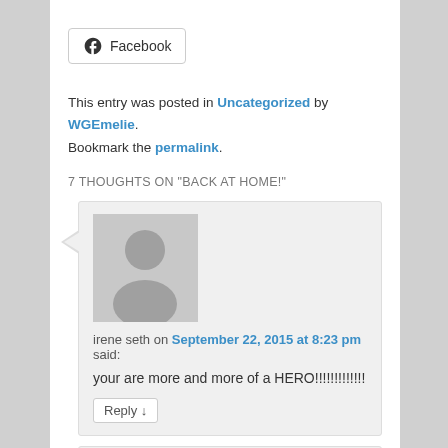[Figure (logo): Facebook button with Facebook logo icon]
This entry was posted in Uncategorized by WGEmelie. Bookmark the permalink.
7 THOUGHTS ON "BACK AT HOME!"
irene seth on September 22, 2015 at 8:23 pm said: your are more and more of a HERO!!!!!!!!!!!!!
Reply ↓
[Figure (photo): Partial second comment with avatar placeholder]